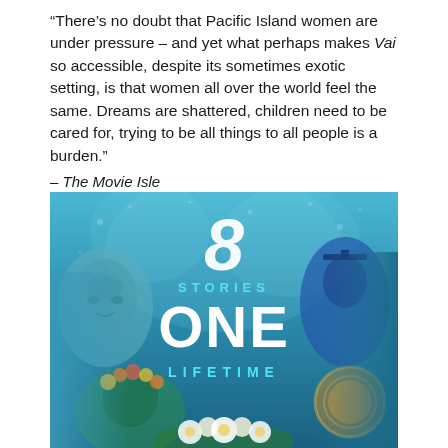“There’s no doubt that Pacific Island women are under pressure – and yet what perhaps makes Vai so accessible, despite its sometimes exotic setting, is that women all over the world feel the same. Dreams are shattered, children need to be cared for, trying to be all things to all people is a burden.”
– The Movie Isle
[Figure (illustration): Movie poster for 'Vai' showing the text '8 STORIES ONE LIFETIME' over an underwater-style blue background with faces of Pacific Island women around the edges and tropical flowers at the bottom.]